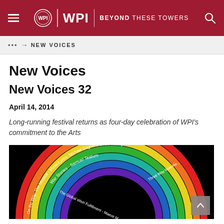WPI | BEYOND THESE TOWERS
... → NEW VOICES
New Voices
New Voices 32
April 14, 2014
Long-running festival returns as four-day celebration of WPI's commitment to the Arts
[Figure (illustration): Colorful rainbow arc graphic on black background with text listing New Voices 32 performances including 'War Stories - Samuel Teatum', 'Three Way from Heaven', 'On the Way: The Musical - Music/Lyrics: Michael Gagliano Book: Jeffrey', 'The Global Wish Fulfillment - Maeve Meelushy']